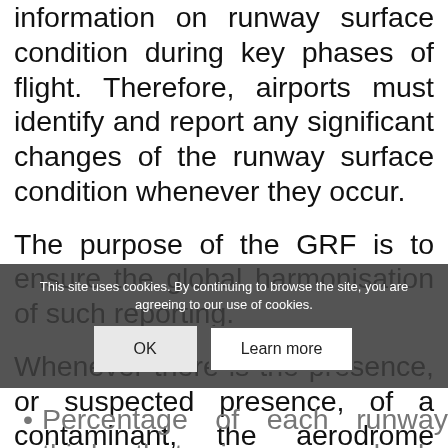information on runway surface condition during key phases of flight. Therefore, airports must identify and report any significant changes of the runway surface condition whenever they occur.
The purpose of the GRF is to ensure the global harmonisation of such reporting.
Whenever there is the presence, or suspected presence, of a contaminant, the aerodrome operator performs visual observations of the runway to gather the following information:
Percentage of each runway third that is covered by contaminant(s).